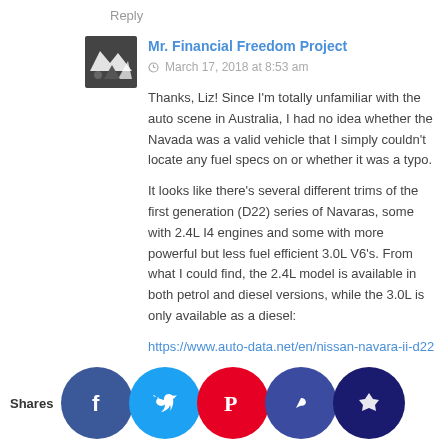Reply
Mr. Financial Freedom Project
March 17, 2018 at 8:53 am
Thanks, Liz! Since I'm totally unfamiliar with the auto scene in Australia, I had no idea whether the Navada was a valid vehicle that I simply couldn't locate any fuel specs on or whether it was a typo.
It looks like there's several different trims of the first generation (D22) series of Navaras, some with 2.4L I4 engines and some with more powerful but less fuel efficient 3.0L V6's. From what I could find, the 2.4L model is available in both petrol and diesel versions, while the 3.0L is only available as a diesel:
https://www.auto-data.net/en/nissan-navara-ii-d22-2.4-double-cab-4wd-148hp-828
https://www.motoring.com.au/nissan-navara-4054/specs/
That said, there's both automatic and manual transmission available for each, so probably... nail down... fuel efficiency unless... more... The secon
Shares